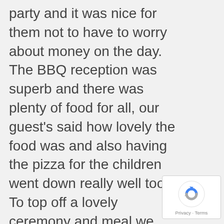party and it was nice for them not to have to worry about money on the day. The BBQ reception was superb and there was plenty of food for all, our guest's said how lovely the food was and also having the pizza for the children went down really well too. To top off a lovely ceremony and meal we opted for some evening entertainment, a belly dancer and it really was the icing on the cake: she was brilliant, really got the party started! Also I loved the fact
[Figure (other): Google reCAPTCHA badge with refresh icon and Privacy/Terms links]